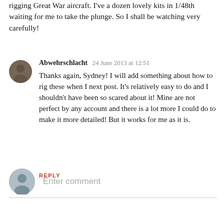rigging Great War aircraft. I've a dozen lovely kits in 1/48th waiting for me to take the plunge. So I shall be watching very carefully!
Abwehrschlacht  24 June 2013 at 12:51
Thanks again, Sydney! I will add something about how to rig these when I next post. It's relatively easy to do and I shouldn't have been so scared about it! Mine are not perfect by any account and there is a lot more I could do to make it more detailed! But it works for me as it is.
REPLY
Enter comment